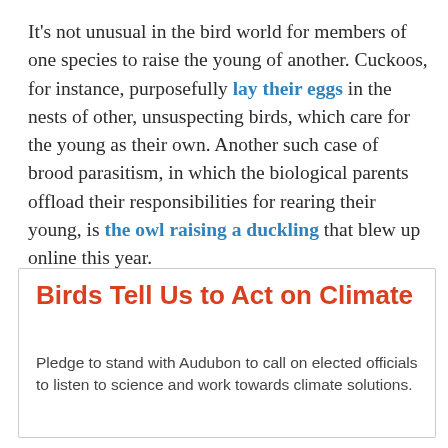It's not unusual in the bird world for members of one species to raise the young of another. Cuckoos, for instance, purposefully lay their eggs in the nests of other, unsuspecting birds, which care for the young as their own. Another such case of brood parasitism, in which the biological parents offload their responsibilities for rearing their young, is the owl raising a duckling that blew up online this year.
Birds Tell Us to Act on Climate
Pledge to stand with Audubon to call on elected officials to listen to science and work towards climate solutions.